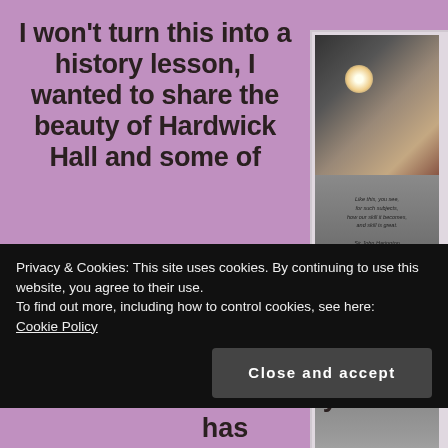I won't turn this into a history lesson, I wanted to share the beauty of Hardwick Hall and some of
[Figure (photo): A photograph of stone stairs inside Hardwick Hall with a quote engraved or displayed on the steps, and a bright light source visible at the top. Copyright text reads '(c) Jane Risdon 2016'.]
Privacy & Cookies: This site uses cookies. By continuing to use this website, you agree to their use.
To find out more, including how to control cookies, see here:
Cookie Policy

Close and accept
Achievements internally. If this has